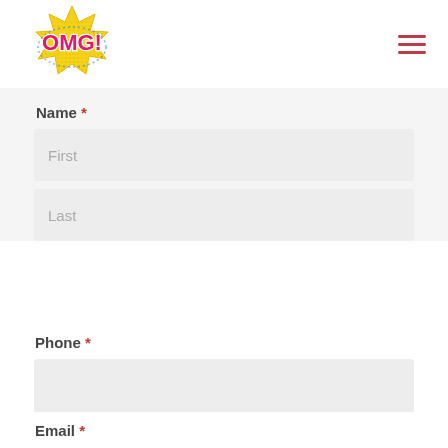[Figure (logo): OMG! comic-style logo with yellow starburst and pink text]
≡ (hamburger menu icon)
Name *
First (input placeholder)
Last (input placeholder)
Phone *
Email *